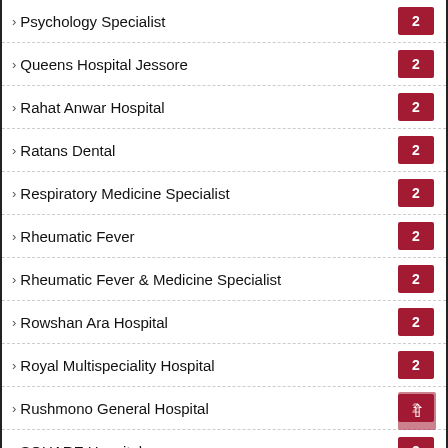Psychology Specialist 2
Queens Hospital Jessore 2
Rahat Anwar Hospital 2
Ratans Dental 2
Respiratory Medicine Specialist 2
Rheumatic Fever 2
Rheumatic Fever & Medicine Specialist 2
Rowshan Ara Hospital 2
Royal Multispeciality Hospital 2
Rushmono General Hospital 2
SQUARE Hospital 2
Saic General Hospital Bogra 2
Salt Lake 2